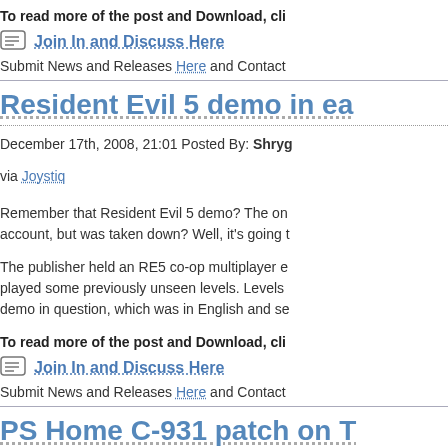To read more of the post and Download, cli...
Join In and Discuss Here
Submit News and Releases Here and Contact...
Resident Evil 5 demo in ea...
December 17th, 2008, 21:01 Posted By: Shryg...
via Joystiq
Remember that Resident Evil 5 demo? The on... account, but was taken down? Well, it's going t...
The publisher held an RE5 co-op multiplayer e... played some previously unseen levels. Levels ... demo in question, which was in English and se...
To read more of the post and Download, cli...
Join In and Discuss Here
Submit News and Releases Here and Contact...
PS Home C-931 patch on T...
December 17th, 2008, 21:03 Posted By: Shryg...